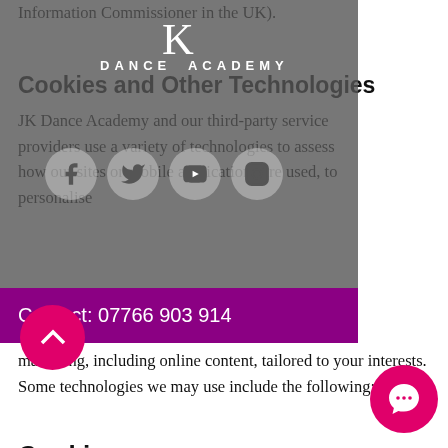Information Commissioner in the UK).
Cookies and Other Technologies
JK Dance Academy and our third-party service providers use a variety of technologies to assess how our sites or mobile applications are used, to personalise marketing, including online content, tailored to your interests. Some technologies we may use include the following:
[Figure (logo): JK Dance Academy logo with K lettermark and social media icons (Facebook, Twitter, YouTube, Instagram)]
Contact: 07766 903 914
Cookies
A cookie is a small file placed on your device when you visit a site that can be understood by the site that issued the cookie. We use the information collected by cookies to remember who you are to log you in and your preferences, to provide you advertisements, offers or other content tailored to your interests and to assess our sites are used. You can accept or decline cookies through your browser